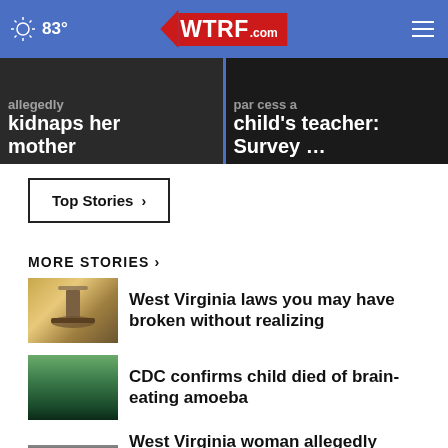83° WTRF.com
[Figure (screenshot): Teaser image left: dark background with text 'allegedly kidnaps her mother']
[Figure (screenshot): Teaser image right: dark background with text 'child's teacher: Survey ...']
Top Stories ›
MORE STORIES ›
West Virginia laws you may have broken without realizing
CDC confirms child died of brain-eating amoeba
West Virginia woman allegedly kidnaps her mother